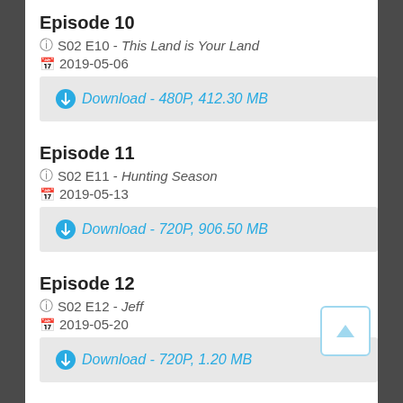Episode 10
S02 E10 - This Land is Your Land
2019-05-06
Download - 480P, 412.30 MB
Episode 11
S02 E11 - Hunting Season
2019-05-13
Download - 720P, 906.50 MB
Episode 12
S02 E12 - Jeff
2019-05-20
Download - 720P, 1.20 MB